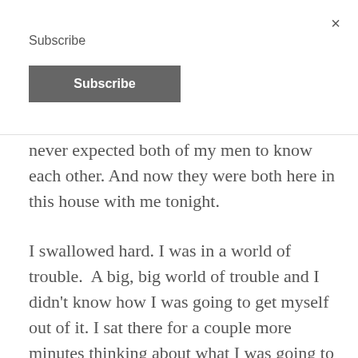×
Subscribe
Subscribe
never expected both of my men to know each other. And now they were both here in this house with me tonight.
I swallowed hard. I was in a world of trouble.  A big, big world of trouble and I didn't know how I was going to get myself out of it. I sat there for a couple more minutes thinking about what I was going to wear for the evening. Before I'd come on the trip, I'd had a plan, a beautiful silky silver